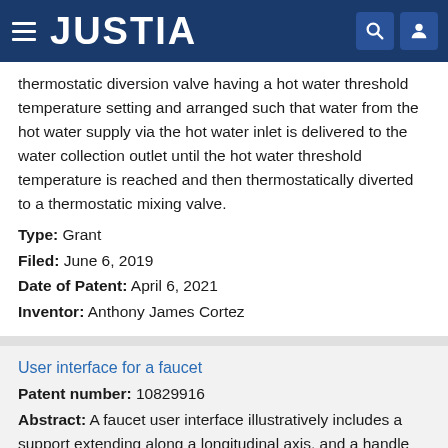JUSTIA
thermostatic diversion valve having a hot water threshold temperature setting and arranged such that water from the hot water supply via the hot water inlet is delivered to the water collection outlet until the hot water threshold temperature is reached and then thermostatically diverted to a thermostatic mixing valve.
Type: Grant
Filed: June 6, 2019
Date of Patent: April 6, 2021
Inventor: Anthony James Cortez
User interface for a faucet
Patent number: 10829916
Abstract: A faucet user interface illustratively includes a support extending along a longitudinal axis, and a handle operably coupled to the support. In an illustrative embodiment, the handle is rotatable about